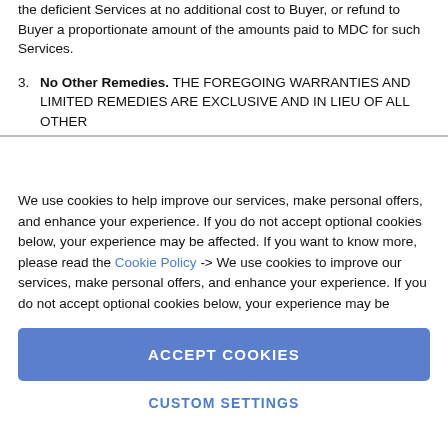the deficient Services at no additional cost to Buyer, or refund to Buyer a proportionate amount of the amounts paid to MDC for such Services.
3. No Other Remedies. THE FOREGOING WARRANTIES AND LIMITED REMEDIES ARE EXCLUSIVE AND IN LIEU OF ALL OTHER
We use cookies to help improve our services, make personal offers, and enhance your experience. If you do not accept optional cookies below, your experience may be affected. If you want to know more, please read the Cookie Policy -> We use cookies to improve our services, make personal offers, and enhance your experience. If you do not accept optional cookies below, your experience may be
ACCEPT COOKIES
CUSTOM SETTINGS